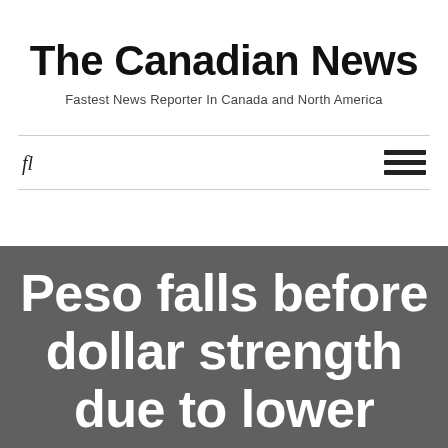The Canadian News
Fastest News Reporter In Canada and North America
fl
Peso falls before dollar strength due to lower